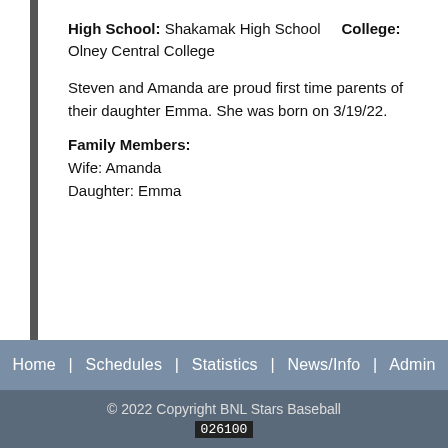High School: Shakamak High School   College: Olney Central College
Steven and Amanda are proud first time parents of their daughter Emma.  She was born on 3/19/22.
Family Members:
Wife:  Amanda
Daughter: Emma
Home | Schedules | Statistics | News/Info | Admin
© 2022 Copyright BNL Stars Baseball 026100